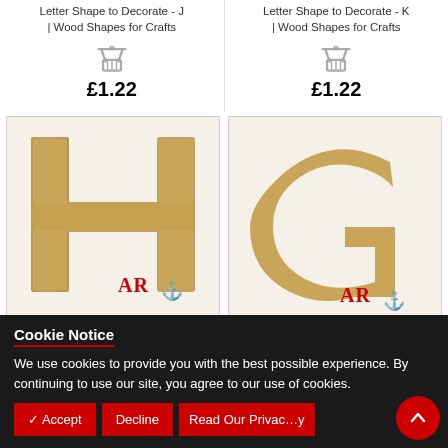Letter Shape to Decorate - J | Wood Shapes for Crafts
Letter Shape to Decorate - K | Wood Shapes for Crafts
£1.22
£1.22
[Figure (photo): Wooden letter H craft shape with AR logo overlay]
[Figure (photo): Wooden letter G craft shape with AR logo overlay]
Cookie Notice
We use cookies to provide you with the best possible experience. By continuing to use our site, you agree to our use of cookies.
✓ Accept
Decline
Read Our Privacy Policy